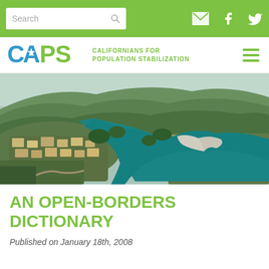Search [navigation bar with search box and social icons]
[Figure (logo): CAPS logo - Californians for Population Stabilization with green bear icon]
[Figure (photo): Aerial photograph of a suburban community surrounding a turquoise lake/river with green hills in the background]
AN OPEN-BORDERS DICTIONARY
Published on January 18th, 2008